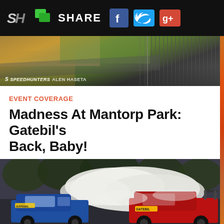SHARE
[Figure (photo): Aerial view of Mantorp Park racing circuit with fencing and track visible, SPEEDHUNTERS ALEN HASETA watermark]
EVENT COVERAGE
Madness At Mantorp Park: Gatebil’s Back, Baby!
June 28, 2022  /  19 Comments
[Figure (photo): Two drifting cars producing heavy tire smoke on track — a blue car on the left and a red car on the right with Gatebil livery]